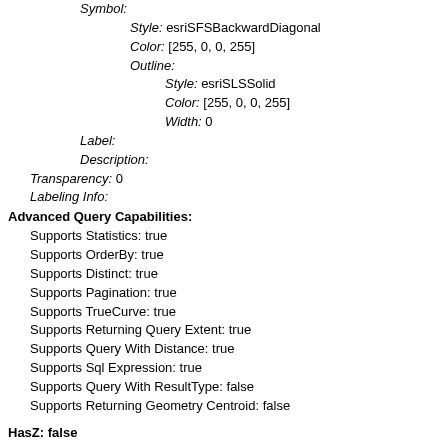Symbol:
Style: esriSFSBackwardDiagonal
Color: [255, 0, 0, 255]
Outline:
Style: esriSLSSolid
Color: [255, 0, 0, 255]
Width: 0
Label:
Description:
Transparency: 0
Labeling Info:
Advanced Query Capabilities:
Supports Statistics: true
Supports OrderBy: true
Supports Distinct: true
Supports Pagination: true
Supports TrueCurve: true
Supports Returning Query Extent: true
Supports Query With Distance: true
Supports Sql Expression: true
Supports Query With ResultType: false
Supports Returning Geometry Centroid: false
HasZ: false
HasM: false
Has Attachments: false